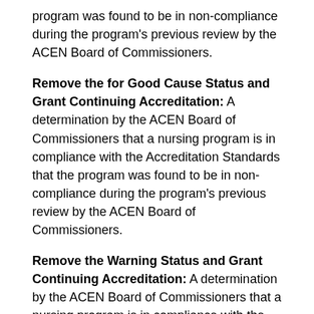program was found to be in non-compliance during the program's previous review by the ACEN Board of Commissioners.
Remove the for Good Cause Status and Grant Continuing Accreditation: A determination by the ACEN Board of Commissioners that a nursing program is in compliance with the Accreditation Standards that the program was found to be in non-compliance during the program's previous review by the ACEN Board of Commissioners.
Remove the Warning Status and Grant Continuing Accreditation: A determination by the ACEN Board of Commissioners that a nursing program is in compliance with the Accreditation Standard(s) that the program was found to be in non-compliance during the program's previous review by the ACEN Board of Commissioners.